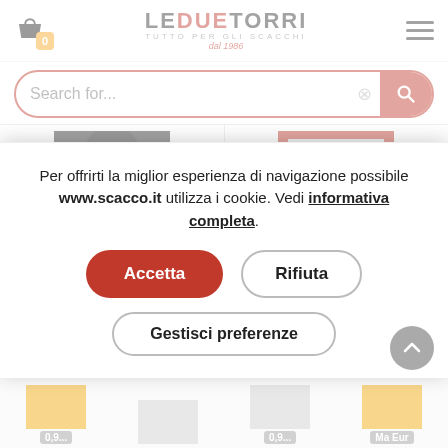[Figure (screenshot): Le Due Torri chess shop website header with logo, cart icon, hamburger menu, search bar, two product cards (Khalifman book and World Chess Championship book), and a cookie consent modal overlay with Accetta, Rifiuta, and Gestisci preferenze buttons.]
LEDUETORRI TUTTO PER GLI SCACCHI dal 1986
Search for...
Khalifman: Life and Games - 2nd ...
World Chess Championship: Steini...
Per offrirti la miglior esperienza di navigazione possibile www.scacco.it utilizza i cookie. Vedi informativa completa.
Accetta
Rifiuta
Gestisci preferenze